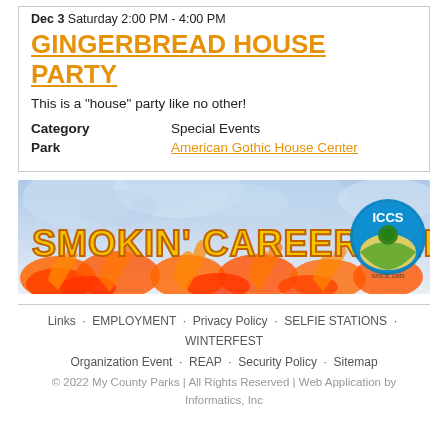Dec 3 Saturday 2:00 PM - 4:00 PM
GINGERBREAD HOUSE PARTY
This is a "house" party like no other!
| Category | Special Events |
| Park | American Gothic House Center |
[Figure (infographic): Banner advertisement reading 'SMOKIN' CAREERS HERE!' with fire background and ICCS logo]
Links  EMPLOYMENT  Privacy Policy  SELFIE STATIONS  WINTERFEST  Organization Event  REAP  Security Policy  Sitemap
© 2022 My County Parks | All Rights Reserved | Web Application by Informatics, Inc